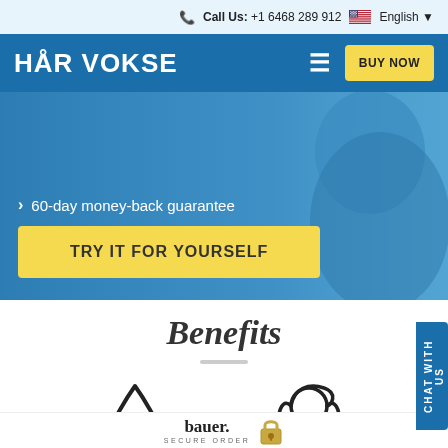Call Us: +1 6468 289 912  English
HÅR VOKSE
60-day money-back guarantee
TRY IT FOR YOURSELF
Benefits
[Figure (illustration): Drop/liquid icon (black outline)]
[Figure (illustration): Woman with flowing hair icon (black outline)]
[Figure (logo): Bauer Secure Order logo with padlock icon]
CHAT WITH US